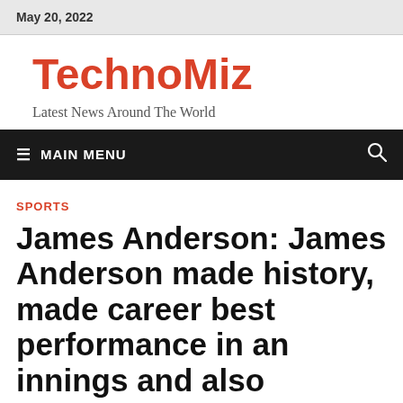May 20, 2022
TechnoMiz
Latest News Around The World
≡  MAIN MENU
SPORTS
James Anderson: James Anderson made history, made career best performance in an innings and also became 'Hazari'